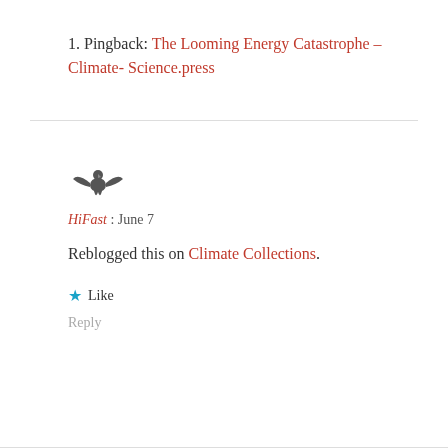1. Pingback: The Looming Energy Catastrophe – Climate- Science.press
[Figure (illustration): Small eagle/bird emblem icon used as avatar for HiFast commenter]
HiFast : June 7
Reblogged this on Climate Collections.
★ Like
Reply